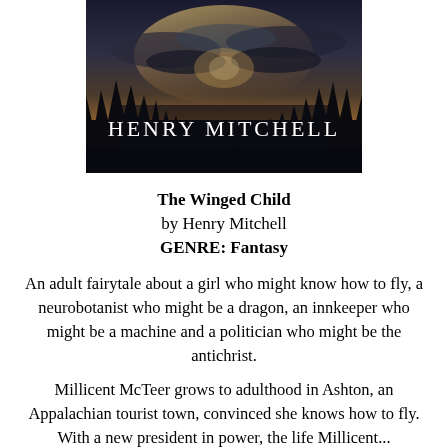[Figure (illustration): Book cover image showing a dark silhouette of trees against a dramatic dusk/dawn sky with clouds and light, with the text 'HENRY MITCHELL' in white decorative lettering overlaid on the lower portion of the image.]
The Winged Child
by Henry Mitchell
GENRE: Fantasy
An adult fairytale about a girl who might know how to fly, a neurobotanist who might be a dragon, an innkeeper who might be a machine and a politician who might be the antichrist.
Millicent McTeer grows to adulthood in Ashton, an Appalachian tourist town, convinced she knows how to fly. With a new president in power, the life Millicent...